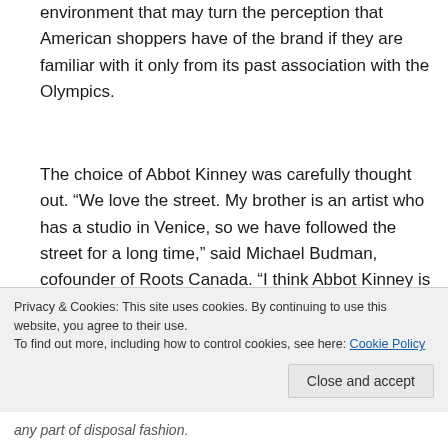environment that may turn the perception that American shoppers have of the brand if they are familiar with it only from its past association with the Olympics.
The choice of Abbot Kinney was carefully thought out. “We love the street. My brother is an artist who has a studio in Venice, so we have followed the street for a long time,” said Michael Budman, cofounder of Roots Canada. “I think Abbot Kinney is the hippest street in America right now. I ran into Russell Simmons on Friday night and he said the same thing. It represents a way of life, and you
Privacy & Cookies: This site uses cookies. By continuing to use this website, you agree to their use.
To find out more, including how to control cookies, see here: Cookie Policy
any part of disposal fashion.